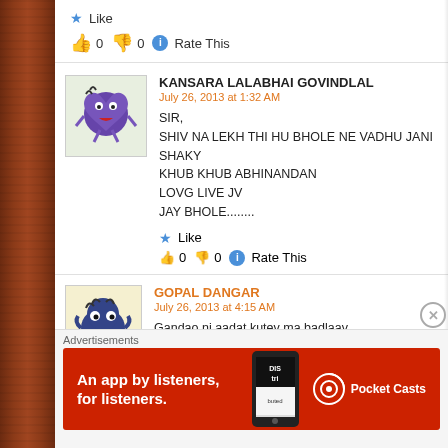★ Like
👍 0  👎 0  ℹ Rate This
KANSARA LALABHAI GOVINDLAL
July 26, 2013 at 1:32 AM
SIR,
SHIV NA LEKH THI HU BHOLE NE VADHU JANI SHAKY
KHUB KHUB ABHINANDAN
LOVG LIVE JV
JAY BHOLE........
★ Like
👍 0  👎 0  ℹ Rate This
GOPAL DANGAR
July 26, 2013 at 4:15 AM
Gandao ni aadat kutev ma badlaav
Advertisements
[Figure (infographic): Pocket Casts advertisement banner with red background. Text: 'An app by listeners, for listeners.' with phone image and Pocket Casts logo on right.]